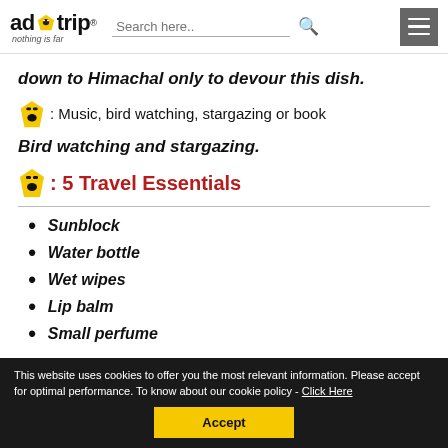adotrip - nothing is far | Search here.. | menu
down to Himachal only to devour this dish.
: Music, bird watching, stargazing or book
Bird watching and stargazing.
: 5 Travel Essentials
Sunblock
Water bottle
Wet wipes
Lip balm
Small perfume
This website uses cookies to offer you the most relevant information. Please accept for optimal performance. To know about our cookie policy - Click Here
Accept
Evolving as a better person